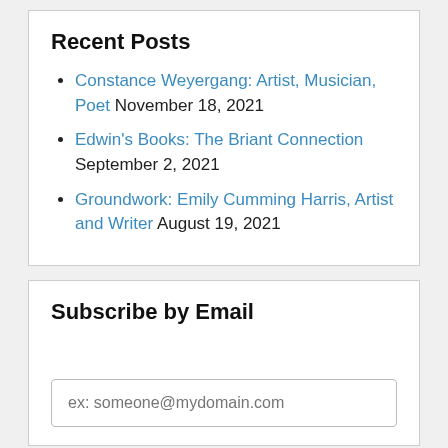Recent Posts
Constance Weyergang: Artist, Musician, Poet November 18, 2021
Edwin's Books: The Briant Connection September 2, 2021
Groundwork: Emily Cumming Harris, Artist and Writer August 19, 2021
Subscribe by Email
ex: someone@mydomain.com